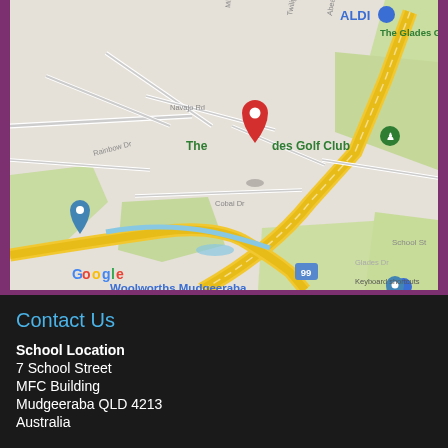[Figure (map): Google Maps screenshot showing Mudgeeraba QLD area with red location pin at The Glades Golf Club area near School Street. Shows roads, Woolworths Mudgeeraba, Coles, ALDI, Firth Park, Google logo, and keyboard shortcuts/map data attribution.]
Contact Us
School Location
7 School Street
MFC Building
Mudgeeraba QLD 4213
Australia